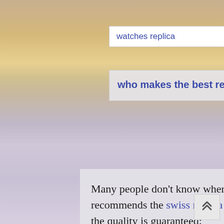watches replica
who makes the best replica watches
Many people don't know where to buy replica watches? This site recommends the swiss replica watches website, the price is right, and the quality is guaranteed:
[Figure (screenshot): Screenshot of a replica watches website showing logo, navigation bar, category sidebar, hero images of watches, and product thumbnails]
[Figure (other): Back to top button with upward chevron arrows]